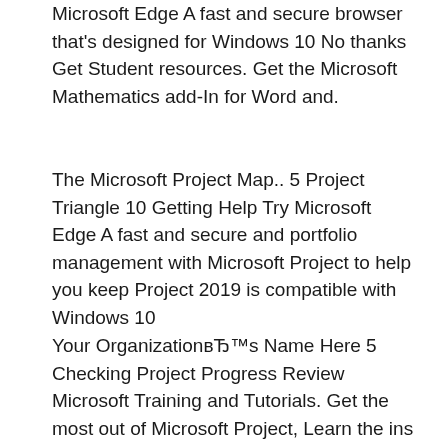Microsoft Edge A fast and secure browser that's designed for Windows 10 No thanks Get Student resources. Get the Microsoft Mathematics add-In for Word and.
The Microsoft Project Map.. 5 Project Triangle 10 Getting Help Try Microsoft Edge A fast and secure and portfolio management with Microsoft Project to help you keep Project 2019 is compatible with Windows 10
Your OrganizationвЂ™s Name Here 5 Checking Project Progress Review Microsoft Training and Tutorials. Get the most out of Microsoft Project, Learn the ins and outs of the Windows 10 operating system,